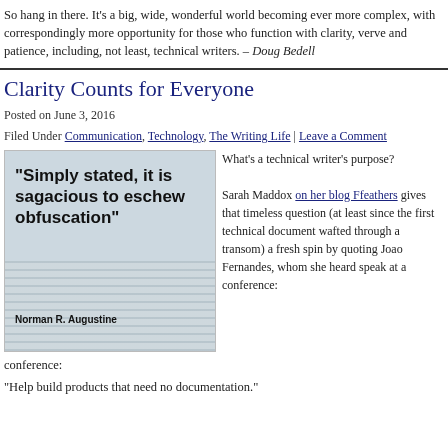So hang in there. It's a big, wide, wonderful world becoming ever more complex, with correspondingly more opportunity for those who function with clarity, verve and patience, including, not least, technical writers. – Doug Bedell
Clarity Counts for Everyone
Posted on June 3, 2016
Filed Under Communication, Technology, The Writing Life | Leave a Comment
[Figure (illustration): Image with bold quote text: "Simply stated, it is sagacious to eschew obfuscation" attributed to Norman R. Augustine, overlaid on a background of stacked newspapers.]
What's a technical writer's purpose?

Sarah Maddox on her blog Ffeathers gives that timeless question (at least since the first technical document wafted through a transom) a fresh spin by quoting Joao Fernandes, whom she heard speak at a conference:
"Help build products that need no documentation."